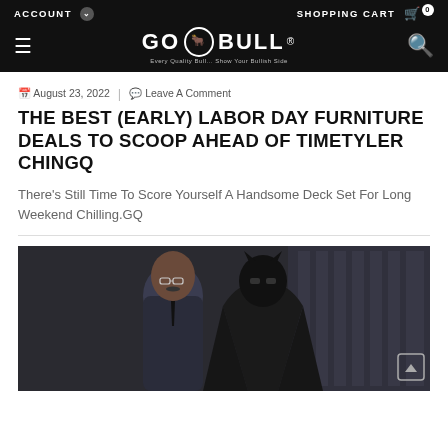ACCOUNT  SHOPPING CART 0  [GO BULL logo]
August 23, 2022  |  Leave A Comment
THE BEST (EARLY) LABOR DAY FURNITURE DEALS TO SCOOP AHEAD OF TIMETYLER CHINGQ
There's Still Time To Score Yourself A Handsome Deck Set For Long Weekend Chilling.GQ
[Figure (photo): Two figures standing side by side in a dark interior scene — a man in a suit and glasses on the left, and a person in a Batman costume on the right.]